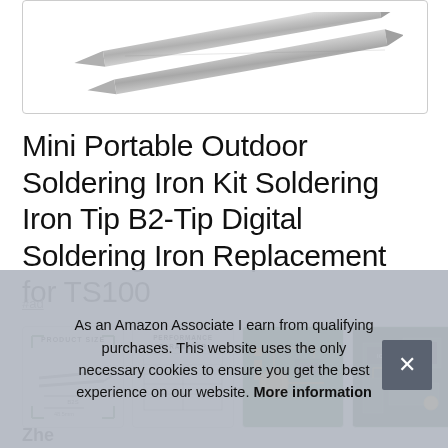[Figure (photo): Close-up photo of soldering iron tips against white background]
Mini Portable Outdoor Soldering Iron Kit Soldering Iron Tip B2-Tip Digital Soldering Iron Replacement for TS100
#ad
[Figure (photo): Four product thumbnail images: product size diagram, performance parameter table, PCB close-up, circuit board close-up]
As an Amazon Associate I earn from qualifying purchases. This website uses the only necessary cookies to ensure you get the best experience on our website. More information
Zhe